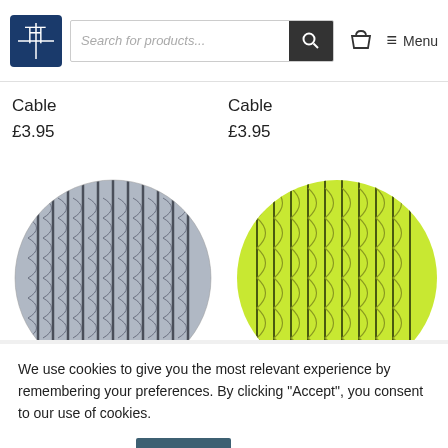Search for products... [search icon] [basket icon] Menu
Cable
Cable
£3.95
£3.95
[Figure (photo): Close-up of grey/blue herringbone braided textile cable]
[Figure (photo): Close-up of lime/yellow-green twisted braided textile cable]
We use cookies to give you the most relevant experience by remembering your preferences. By clicking “Accept”, you consent to our use of cookies.
Cookie settings
Accept